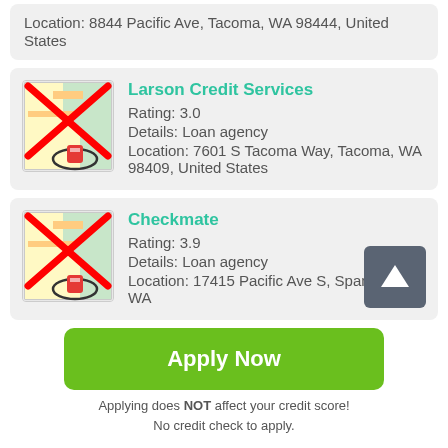Location: 8844 Pacific Ave, Tacoma, WA 98444, United States
Larson Credit Services
Rating: 3.0
Details: Loan agency
Location: 7601 S Tacoma Way, Tacoma, WA 98409, United States
Checkmate
Rating: 3.9
Details: Loan agency
Location: 17415 Pacific Ave S, Spanaway, WA
Apply Now
Applying does NOT affect your credit score!
No credit check to apply.